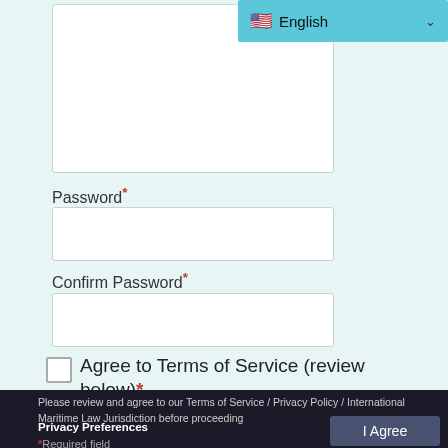[Figure (screenshot): Language selector dropdown showing US flag and English text with chevron, styled in teal/cyan background]
[Figure (screenshot): Large empty textarea form field with white background and light border]
Password*
[Figure (screenshot): Password input field, empty, white background with border]
Confirm Password*
[Figure (screenshot): Confirm Password input field, empty, white background with border]
Agree to Terms of Service (review below)*
Please review and agree to our Terms of Service / Privacy Policy / International Maritime Law Jurisdiction before proceeding
Privacy Preferences
I Agree
*Required field